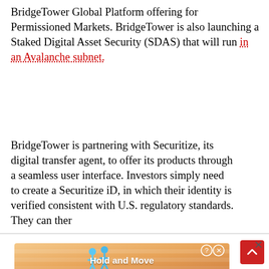BridgeTower Global Platform offering for Permissioned Markets. BridgeTower is also launching a Staked Digital Asset Security (SDAS) that will run in an Avalanche subnet.
BridgeTower is partnering with Securitize, its digital transfer agent, to offer its products through a seamless user interface. Investors simply need to create a Securitize iD, in which their identity is verified consistent with U.S. regulatory standards. They can ther
[Figure (other): Advertisement banner showing 'Hold and Move' with cartoon figures, partially visible at bottom of page. Includes close button (x) and scroll-to-top button.]